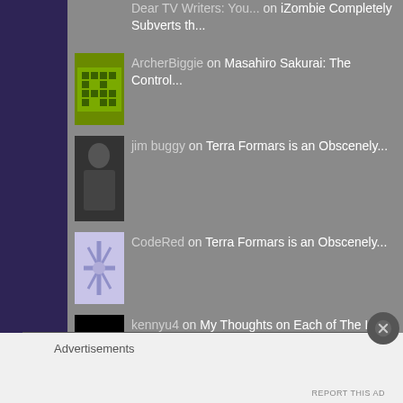Dear TV Writers: You... on iZombie Completely Subverts th...
ArcherBiggie on Masahiro Sakurai: The Control...
jim buggy on Terra Formars is an Obscenely...
CodeRed on Terra Formars is an Obscenely...
kennyu4 on My Thoughts on Each of The Lio...
Advertisements
REPORT THIS AD